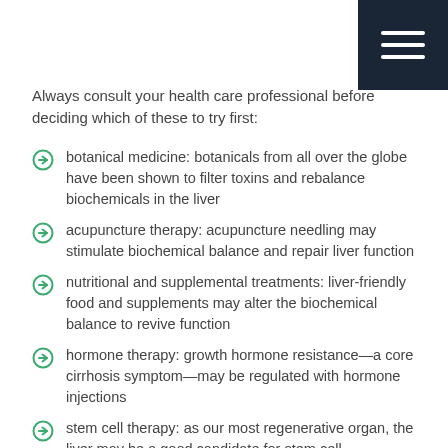[Figure (other): Dark navy hamburger menu icon in top-right corner with three horizontal white lines]
Always consult your health care professional before deciding which of these to try first:
botanical medicine: botanicals from all over the globe have been shown to filter toxins and rebalance biochemicals in the liver
acupuncture therapy: acupuncture needling may stimulate biochemical balance and repair liver function
nutritional and supplemental treatments: liver-friendly food and supplements may alter the biochemical balance to revive function
hormone therapy: growth hormone resistance—a core cirrhosis symptom—may be regulated with hormone injections
stem cell therapy: as our most regenerative organ, the liver may be a good candidate for stem cell regeneration
pharmaceutical treatments for cirrhosis: fast relief of symptoms can be achieved with these traditional standard